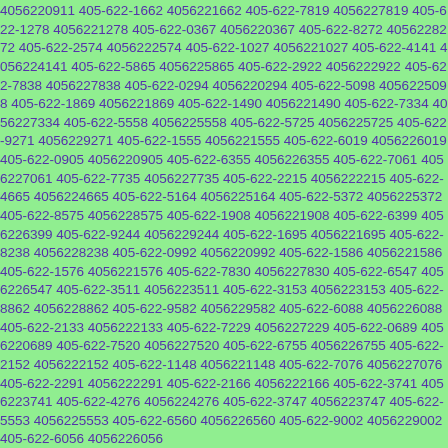4056220911 405-622-1662 4056221662 405-622-7819 4056227819 405-622-1278 4056221278 405-622-0367 4056220367 405-622-8272 4056228272 405-622-2574 4056222574 405-622-1027 4056221027 405-622-4141 4056224141 405-622-5865 4056225865 405-622-2922 4056222922 405-622-7838 4056227838 405-622-0294 4056220294 405-622-5098 4056225098 405-622-1869 4056221869 405-622-1490 4056221490 405-622-7334 4056227334 405-622-5558 4056225558 405-622-5725 4056225725 405-622-9271 4056229271 405-622-1555 4056221555 405-622-6019 4056226019 405-622-0905 4056220905 405-622-6355 4056226355 405-622-7061 4056227061 405-622-7735 4056227735 405-622-2215 4056222215 405-622-4665 4056224665 405-622-5164 4056225164 405-622-5372 4056225372 405-622-8575 4056228575 405-622-1908 4056221908 405-622-6399 4056226399 405-622-9244 4056229244 405-622-1695 4056221695 405-622-8238 4056228238 405-622-0992 4056220992 405-622-1586 4056221586 405-622-1576 4056221576 405-622-7830 4056227830 405-622-6547 4056226547 405-622-3511 4056223511 405-622-3153 4056223153 405-622-8862 4056228862 405-622-9582 4056229582 405-622-6088 4056226088 405-622-2133 4056222133 405-622-7229 4056227229 405-622-0689 4056220689 405-622-7520 4056227520 405-622-6755 4056226755 405-622-2152 4056222152 405-622-1148 4056221148 405-622-7076 4056227076 405-622-2291 4056222291 405-622-2166 4056222166 405-622-3741 4056223741 405-622-4276 4056224276 405-622-3747 4056223747 405-622-5553 4056225553 405-622-6560 4056226560 405-622-9002 4056229002 405-622-6056 4056226056